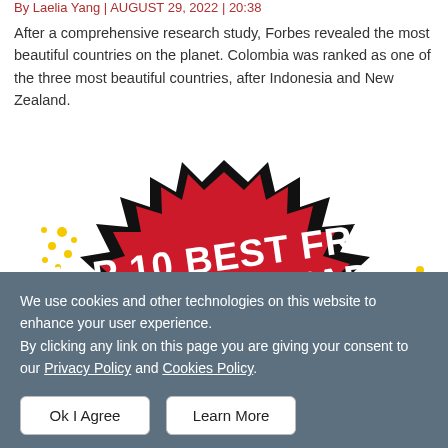By Laelia Yang | AUGUST 29, 2022 | 20:38
After a comprehensive research study, Forbes revealed the most beautiful countries on the planet. Colombia was ranked as one of the three most beautiful countries, after Indonesia and New Zealand.
[Figure (illustration): Promotional banner with red comic-style explosion shape on white background with yellow dots, containing bold white text: 'TOP 10 BEST FREE SITES TO READ ... ONLINE']
We use cookies and other technologies on this website to enhance your user experience.
By clicking any link on this page you are giving your consent to our Privacy Policy and Cookies Policy.
Ok I Agree
Learn More